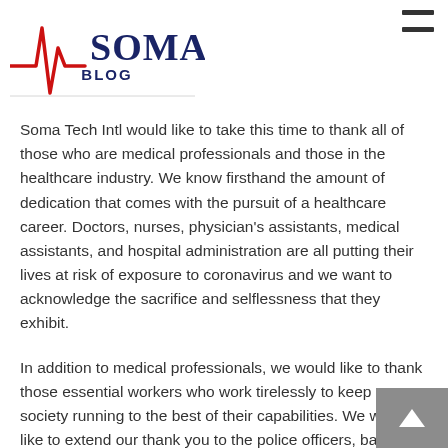[Figure (logo): Soma Blog logo — red and dark-blue ECG/heartbeat waveform graphic with 'SOMA' in large dark-blue serif letters and 'BLOG' in smaller dark-blue letters below]
Soma Tech Intl would like to take this time to thank all of those who are medical professionals and those in the healthcare industry. We know firsthand the amount of dedication that comes with the pursuit of a healthcare career. Doctors, nurses, physician's assistants, medical assistants, and hospital administration are all putting their lives at risk of exposure to coronavirus and we want to acknowledge the sacrifice and selflessness that they exhibit.
In addition to medical professionals, we would like to thank those essential workers who work tirelessly to keep our society running to the best of their capabilities. We would like to extend our thank you to the police officers, bank workers, public works, fire fighters, postal workers, and everyone else who is continuing to keep our society afloat.